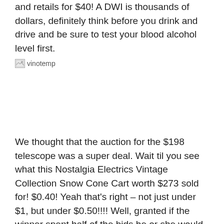and retails for $40! A DWI is thousands of dollars, definitely think before you drink and drive and be sure to test your blood alcohol level first.
[Figure (photo): Broken image placeholder labeled 'vinotemp']
We thought that the auction for the $198 telescope was a super deal. Wait til you see what this Nostalgia Electrics Vintage Collection Snow Cone Cart worth $273 sold for! $0.40! Yeah that's right – not just under $1, but under $0.50!!!! Well, granted if the winner spent half of the bids he or she would have paid less than $5.00 to win it. What a deal! See you just don't know when it's your time to get an amazing deal like this that's why you have to be